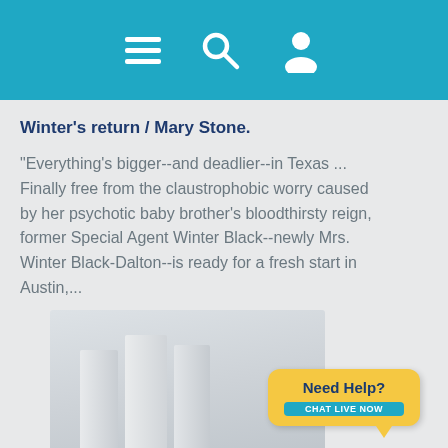[Navigation bar with menu, search, and user icons]
Winter's return / Mary Stone.
"Everything's bigger--and deadlier--in Texas ... Finally free from the claustrophobic worry caused by her psychotic baby brother's bloodthirsty reign, former Special Agent Winter Black--newly Mrs. Winter Black-Dalton--is ready for a fresh start in Austin,...
[Figure (photo): Book cover or library image showing white/grey book spines on a shelf, partially visible]
Need Help? CHAT LIVE NOW